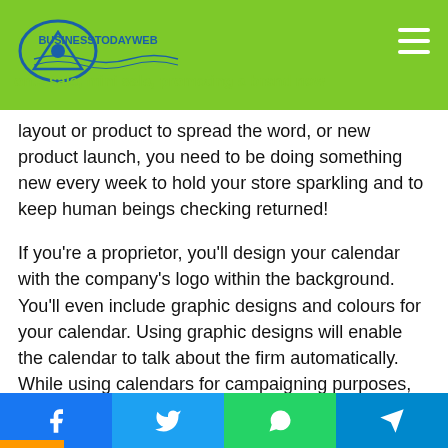BusinessTodayWeb logo and navigation
on... sale, mini sale, promoting a brand new layout or product to spread the word, or new product launch, you need to be doing something new every week to hold your store sparkling and to keep human beings checking returned!
If you're a proprietor, you'll design your calendar with the company's logo within the background. You'll even include graphic designs and colours for your calendar. Using graphic designs will enable the calendar to talk about the firm automatically. While using calendars for campaigning purposes, confirm you employ right captions and make no mistakes within the design.
There are a few key things you have to include to your custom business calendar (and recommend color coding
Facebook Twitter WhatsApp Telegram share buttons